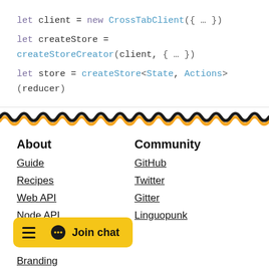let client = new CrossTabClient({ … })
let createStore = createStoreCreator(client, { … })
let store = createStore<State, Actions>(reducer)
[Figure (illustration): Decorative wave/squiggle divider in black and gold/yellow colors]
About
Guide
Recipes
Web API
Node API
Changelog
Branding
Community
GitHub
Twitter
Gitter
Linguopunk
[Figure (other): Join chat button with hamburger menu icon and speech bubble icon, gold/yellow background]